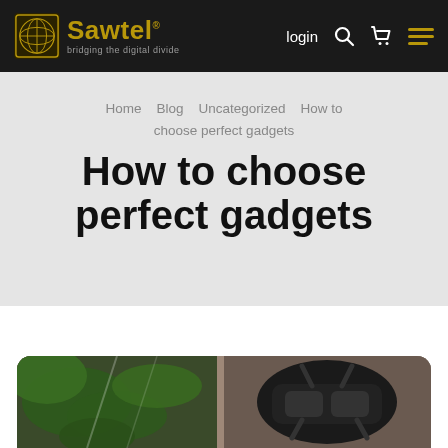Sawtel — bridging the digital divide
Home  Blog  Uncategorized  How to choose perfect gadgets
How to choose perfect gadgets
[Figure (photo): Photo showing green plant leaves on the left and a VR headset/tech gadget on the right, with a blurred beige/brown background. Image has rounded corners at the top.]